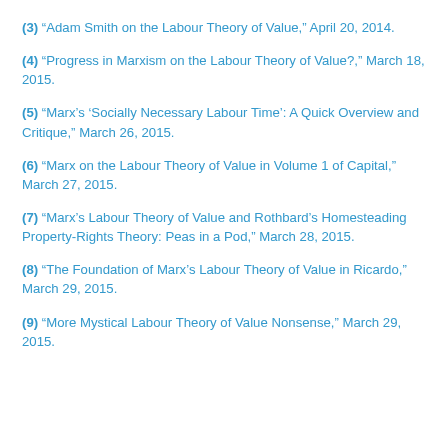(3) “Adam Smith on the Labour Theory of Value,” April 20, 2014.
(4) “Progress in Marxism on the Labour Theory of Value?,” March 18, 2015.
(5) “Marx’s ‘Socially Necessary Labour Time’: A Quick Overview and Critique,” March 26, 2015.
(6) “Marx on the Labour Theory of Value in Volume 1 of Capital,” March 27, 2015.
(7) “Marx’s Labour Theory of Value and Rothbard’s Homesteading Property-Rights Theory: Peas in a Pod,” March 28, 2015.
(8) “The Foundation of Marx’s Labour Theory of Value in Ricardo,” March 29, 2015.
(9) “More Mystical Labour Theory of Value Nonsense,” March 29, 2015.